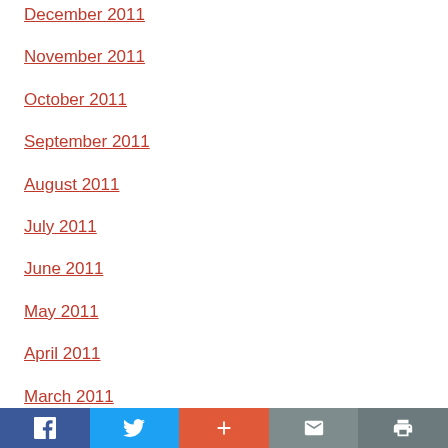December 2011
November 2011
October 2011
September 2011
August 2011
July 2011
June 2011
May 2011
April 2011
March 2011
[Figure (other): Social sharing bar with Facebook, Twitter, Google+, Email, and Print buttons]